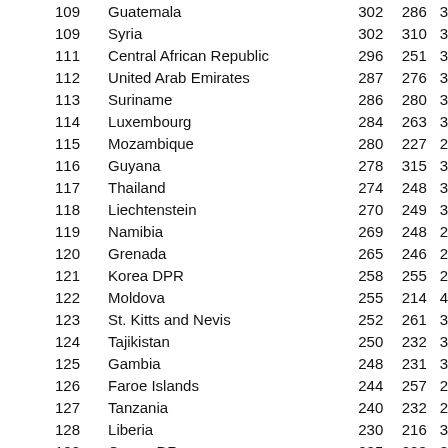| Rank | Country | Col3 | Col4 | Col5 |
| --- | --- | --- | --- | --- |
| 109 | Guatemala | 302 | 286 | 3 |
| 109 | Syria | 302 | 310 | 3 |
| 111 | Central African Republic | 296 | 251 | 3 |
| 112 | United Arab Emirates | 287 | 276 | 3 |
| 113 | Suriname | 286 | 280 | 3 |
| 114 | Luxembourg | 284 | 263 | 3 |
| 115 | Mozambique | 280 | 227 | 2 |
| 116 | Guyana | 278 | 315 | 3 |
| 117 | Thailand | 274 | 248 | 3 |
| 118 | Liechtenstein | 270 | 249 | 3 |
| 119 | Namibia | 269 | 248 | 2 |
| 120 | Grenada | 265 | 246 | 2 |
| 121 | Korea DPR | 258 | 255 | 2 |
| 122 | Moldova | 255 | 214 | 4 |
| 123 | St. Kitts and Nevis | 252 | 261 | 3 |
| 124 | Tajikistan | 250 | 232 | 3 |
| 125 | Gambia | 248 | 231 | 3 |
| 126 | Faroe Islands | 244 | 257 | 2 |
| 127 | Tanzania | 240 | 232 | 2 |
| 128 | Liberia | 230 | 216 | 3 |
| 129 | Congo DR | 225 | 223 | 3 |
| 130 | Vietnam | 209 | 222 | 2 |